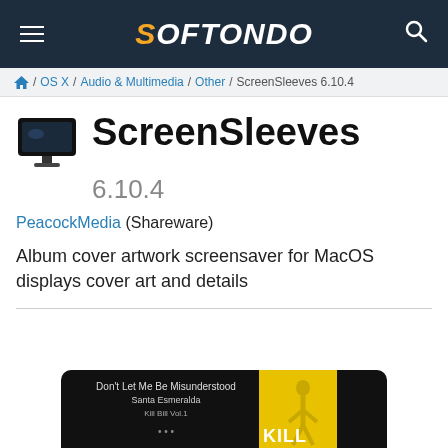SOFTONDO
/ OS X / Audio & Multimedia / Other / ScreenSleeves 6.10.4
ScreenSleeves
6.10.4
PeacockMedia (Shareware)
Album cover artwork screensaver for MacOS displays cover art and details
[Figure (screenshot): ScreenSleeves app screenshot showing album cover artwork screensaver with 'Don't Let Me Be Misunderstood' by Santa Esmeralda from Kill Bill Vol.1 and a yellow Kill Bill movie poster]